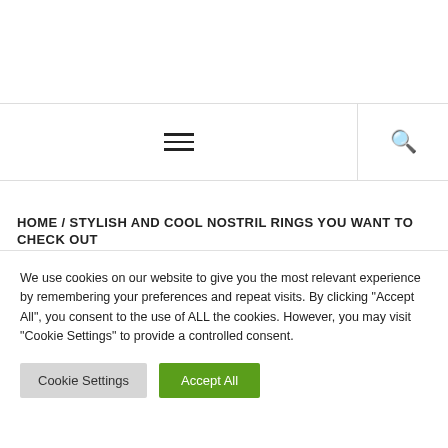[Figure (screenshot): Navigation bar with hamburger menu icon and search icon, with border lines]
HOME / STYLISH AND COOL NOSTRIL RINGS YOU WANT TO CHECK OUT
We use cookies on our website to give you the most relevant experience by remembering your preferences and repeat visits. By clicking "Accept All", you consent to the use of ALL the cookies. However, you may visit "Cookie Settings" to provide a controlled consent.
Cookie Settings    Accept All